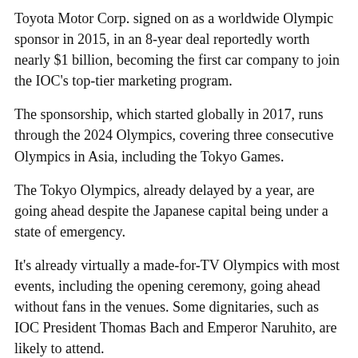Toyota Motor Corp. signed on as a worldwide Olympic sponsor in 2015, in an 8-year deal reportedly worth nearly $1 billion, becoming the first car company to join the IOC's top-tier marketing program.
The sponsorship, which started globally in 2017, runs through the 2024 Olympics, covering three consecutive Olympics in Asia, including the Tokyo Games.
The Tokyo Olympics, already delayed by a year, are going ahead despite the Japanese capital being under a state of emergency.
It's already virtually a made-for-TV Olympics with most events, including the opening ceremony, going ahead without fans in the venues. Some dignitaries, such as IOC President Thomas Bach and Emperor Naruhito, are likely to attend.
Toyota is one of the most trusted brands in Japan. The maker of the Prius hybrid and Lexus luxury models prides